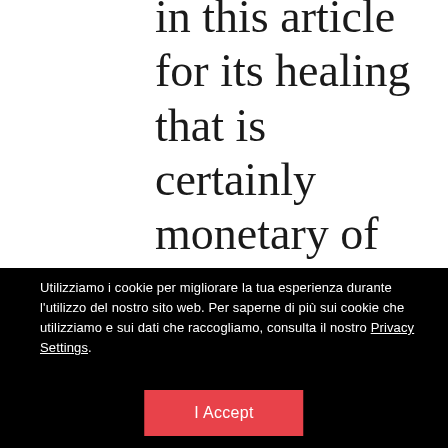in this article for its healing that is certainly monetary of who would like below average assets pay check upgrades from
Utilizziamo i cookie per migliorare la tua esperienza durante l'utilizzo del nostro sito web. Per saperne di più sui cookie che utilizziamo e sui dati che raccogliamo, consulta il nostro Privacy Settings.